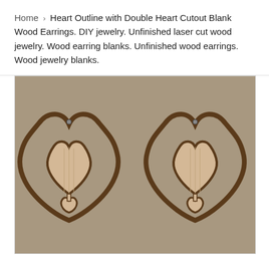Home › Heart Outline with Double Heart Cutout Blank Wood Earrings. DIY jewelry. Unfinished laser cut wood jewelry. Wood earring blanks. Unfinished wood earrings. Wood jewelry blanks.
[Figure (photo): Two laser-cut wood earrings shaped like heart outlines with a double heart cutout design — a larger heart inside and a smaller heart below — on a tan/grey background.]